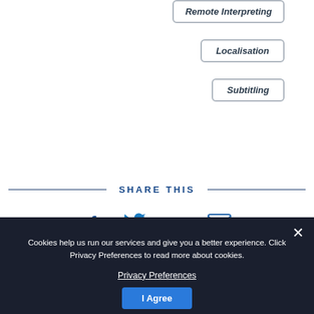Remote Interpreting
Localisation
Subtitling
SHARE THIS
[Figure (infographic): Social media sharing icons: Facebook, Twitter, LinkedIn, Email]
Cookies help us run our services and give you a better experience. Click Privacy Preferences to read more about cookies.
Privacy Preferences
I Agree
Linguistic Search | Advice | International | CTA | Legal English | Terms and Conditions | Privacy Policy | Contact
© 2022 Linguistico Ltd. Registered in England and Wales, Company No. 12823475